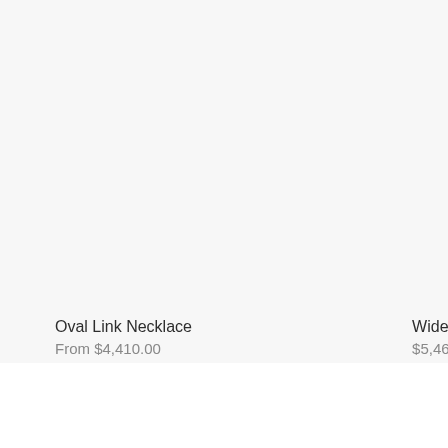Oval Link Necklace
From $4,410.00
Wide ...
$5,465...